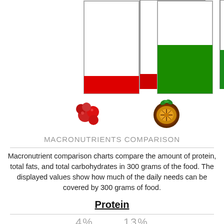[Figure (bar-chart): Two vertical bar charts showing partial fill - left bar with red fill at bottom (low level), right bar with green fill at bottom (about half level). Represents macronutrient comparison bars for two fruits (cranberry and passion fruit).]
[Figure (photo): Two fruit emoji/images: left is cranberries (red berries), right is passion fruit (cut open showing interior)]
MACRONUTRIENTS COMPARISON
Macronutrient comparison charts compare the amount of protein, total fats, and total carbohydrates in 300 grams of the food. The displayed values show how much of the daily needs can be covered by 300 grams of food.
Protein
4%        13%